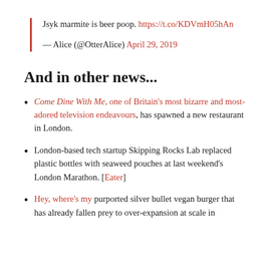Jsyk marmite is beer poop. https://t.co/KDVmH05hAn

— Alice (@OtterAlice) April 29, 2019
And in other news...
Come Dine With Me, one of Britain's most bizarre and most-adored television endeavours, has spawned a new restaurant in London.
London-based tech startup Skipping Rocks Lab replaced plastic bottles with seaweed pouches at last weekend's London Marathon. [Eater]
Hey, where's my purported silver bullet vegan burger that has already fallen prey to over-expansion at scale in